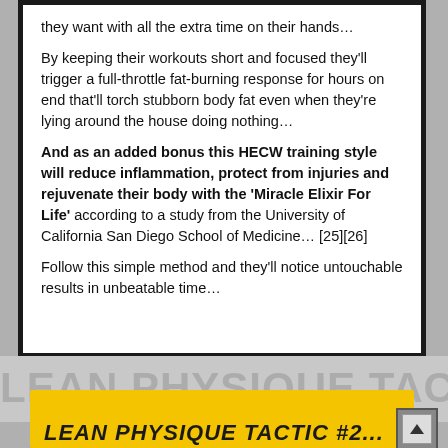they want with all the extra time on their hands…
By keeping their workouts short and focused they'll trigger a full-throttle fat-burning response for hours on end that'll torch stubborn body fat even when they're lying around the house doing nothing…
And as an added bonus this HECW training style will reduce inflammation, protect from injuries and rejuvenate their body with the 'Miracle Elixir For Life' according to a study from the University of California San Diego School of Medicine… [25][26]
Follow this simple method and they'll notice untouchable results in unbeatable time…
[Figure (other): Watermark text background area with large faded text reading 'LEAN PHYSIQUE TACTIC' in gray]
LEAN PHYSIQUE TACTIC #2...